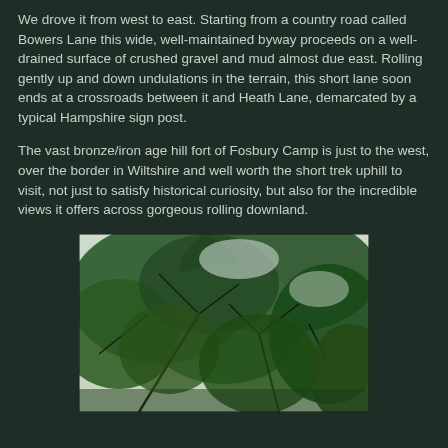We drove it from west to east. Starting from a country road called Bowers Lane this wide, well-maintained byway proceeds on a well-drained surface of crushed gravel and mud almost due east. Rolling gently up and down undulations in the terrain, this short lane soon ends at a crossroads between it and Heath Lane, demarcated by a typical Hampshire sign post.
The vast bronze/iron age hill fort of Fosbury Camp is just to the west, over the border in Wiltshire and well worth the short trek uphill to visit, not just to satisfy historical curiosity, but also for the incredible views it offers across gorgeous rolling downland.
[Figure (photo): A photograph of tree branches with green foliage against a light overcast sky.]